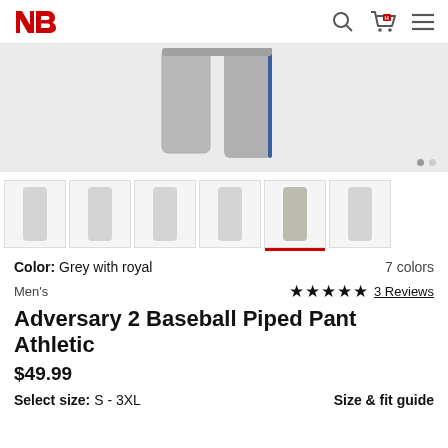New Balance - NB logo, search, cart, menu icons
[Figure (photo): Grey with royal piped baseball pants product photo on light grey background, showing lower half of pants]
[Figure (photo): Thumbnail strip of 6 product images of baseball pants in various colors/angles, 5th thumbnail selected (highlighted with red underline)]
Color: Grey with royal    7 colors
Men's    ★★★★★ 3 Reviews
Adversary 2 Baseball Piped Pant Athletic
$49.99
Select size: S - 3XL    Size & fit guide